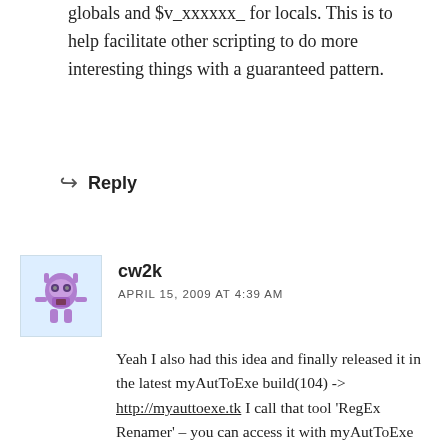globals and $v_xxxxxx_ for locals. This is to help facilitate other scripting to do more interesting things with a guaranteed pattern.
↩ Reply
[Figure (illustration): Purple cartoon character avatar for user cw2k]
cw2k
APRIL 15, 2009 AT 4:39 AM
Yeah I also had this idea and finally released it in the latest myAutToExe build(104) -> http://myauttoexe.tk I call that tool 'RegEx Renamer' – you can access it with myAutToExe with F11
Let's say you have an obfuscated source like this Global $OOOOOOOOOOOOOOOOOOOO = False Global $OOOOOOOOOOOOOOOOOOOO =